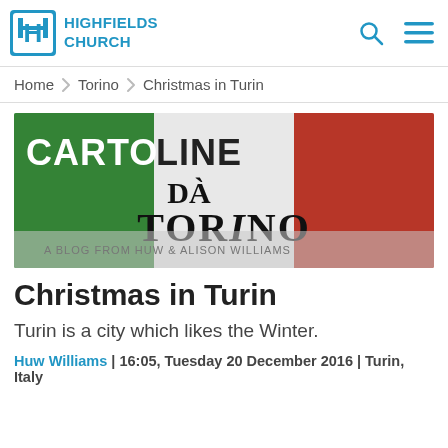HIGHFIELDS CHURCH
Home > Torino > Christmas in Turin
[Figure (illustration): Cartoline Da Torino banner image showing the Italian flag colors (green, white, red) with the text 'CARTOLINE DA TORINO' overlaid]
Christmas in Turin
Turin is a city which likes the Winter.
Huw Williams | 16:05, Tuesday 20 December 2016 | Turin, Italy